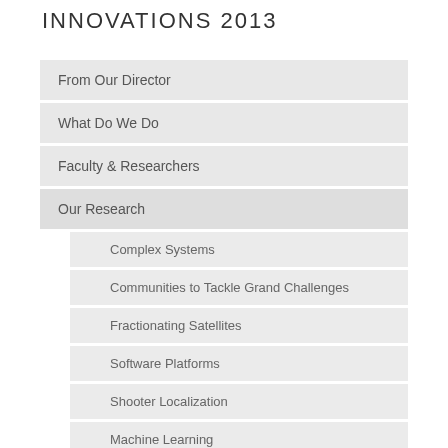INNOVATIONS 2013
From Our Director
What Do We Do
Faculty & Researchers
Our Research
Complex Systems
Communities to Tackle Grand Challenges
Fractionating Satellites
Software Platforms
Shooter Localization
Machine Learning
Health Care
Reliability of Complex Systems
Smart Phones